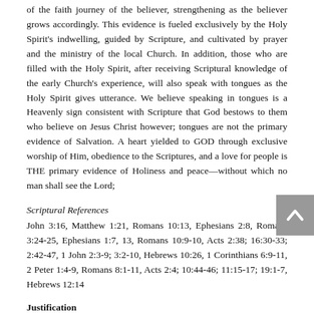of the faith journey of the believer, strengthening as the believer grows accordingly. This evidence is fueled exclusively by the Holy Spirit's indwelling, guided by Scripture, and cultivated by prayer and the ministry of the local Church. In addition, those who are filled with the Holy Spirit, after receiving Scriptural knowledge of the early Church's experience, will also speak with tongues as the Holy Spirit gives utterance. We believe speaking in tongues is a Heavenly sign consistent with Scripture that God bestows to them who believe on Jesus Christ however; tongues are not the primary evidence of Salvation. A heart yielded to GOD through exclusive worship of Him, obedience to the Scriptures, and a love for people is THE primary evidence of Holiness and peace—without which no man shall see the Lord;
Scriptural References
John 3:16, Matthew 1:21, Romans 10:13, Ephesians 2:8, Romans 3:24-25, Ephesians 1:7, 13, Romans 10:9-10, Acts 2:38; 16:30-33; 2:42-47, 1 John 2:3-9; 3:2-10, Hebrews 10:26, 1 Corinthians 6:9-11, 2 Peter 1:4-9, Romans 8:1-11, Acts 2:4; 10:44-46; 11:15-17; 19:1-7, Hebrews 12:14
Justification
As the next step of sanctification...